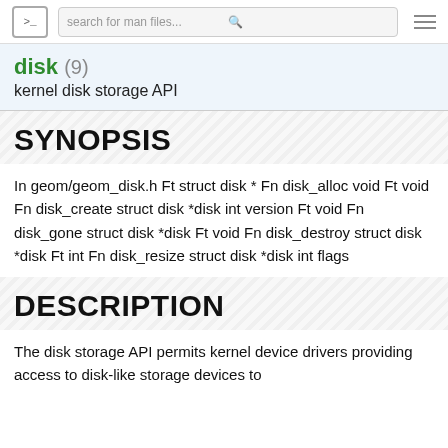search for man files...
disk (9)
kernel disk storage API
SYNOPSIS
In geom/geom_disk.h Ft struct disk * Fn disk_alloc void Ft void Fn disk_create struct disk *disk int version Ft void Fn disk_gone struct disk *disk Ft void Fn disk_destroy struct disk *disk Ft int Fn disk_resize struct disk *disk int flags
DESCRIPTION
The disk storage API permits kernel device drivers providing access to disk-like storage devices to